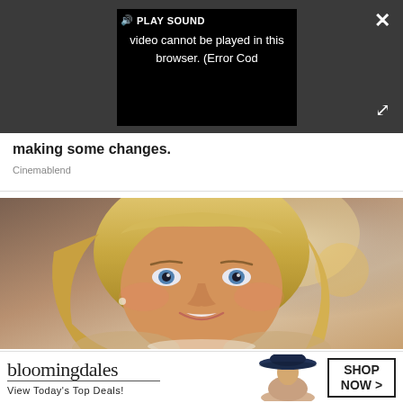[Figure (screenshot): Video player overlay on dark grey background showing error message: 'Video cannot be played in this browser. (Error Cod' with PLAY SOUND button and speaker icon. Close button (×) in top right, expand arrows in bottom right.]
making some changes.
Cinemablend
[Figure (photo): Portrait photo of a smiling young blonde woman with blue eyes, wavy hair, and natural makeup against a soft blurred background.]
[Figure (screenshot): Bloomingdale's advertisement banner: 'bloomingdales / View Today's Top Deals!' with a woman in a navy hat and 'SHOP NOW >' button. Close (×) button in top right corner.]